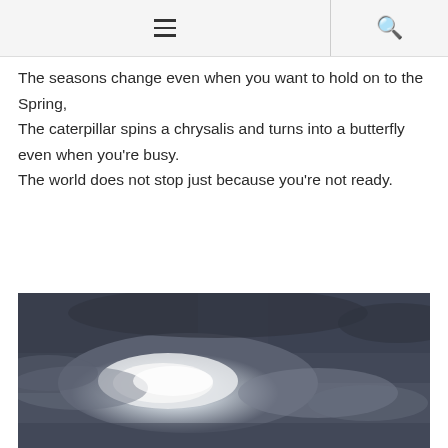[hamburger menu icon] [search icon]
The seasons change even when you want to hold on to the Spring,
The caterpillar spins a chrysalis and turns into a butterfly even when you're busy.
The world does not stop just because you're not ready.
[Figure (photo): A dramatic sky photograph showing stormy dark grey clouds with bright white light breaking through, suggesting a moody atmospheric scene.]